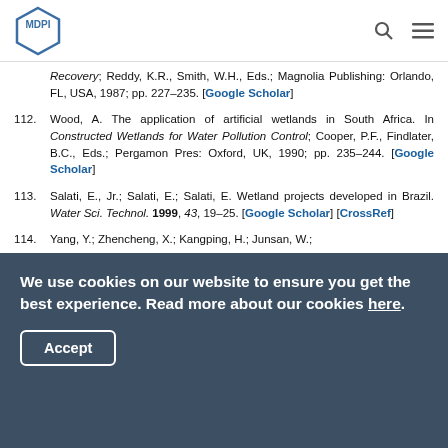MDPI
Recovery; Reddy, K.R., Smith, W.H., Eds.; Magnolia Publishing: Orlando, FL, USA, 1987; pp. 227–235. [Google Scholar]
112. Wood, A. The application of artificial wetlands in South Africa. In Constructed Wetlands for Water Pollution Control; Cooper, P.F., Findlater, B.C., Eds.; Pergamon Pres: Oxford, UK, 1990; pp. 235–244. [Google Scholar]
113. Salati, E., Jr.; Salati, E.; Salati, E. Wetland projects developed in Brazil. Water Sci. Technol. 1999, 43, 19–25. [Google Scholar] [CrossRef]
114. Yang, Y.; Zhencheng, X.; Kangping, H.; Junsan, W.;
We use cookies on our website to ensure you get the best experience. Read more about our cookies here.
Accept